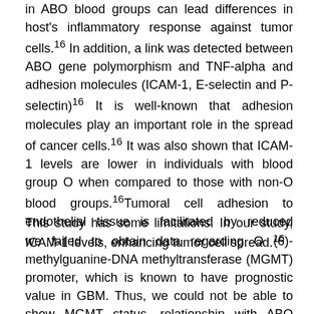in ABO blood groups can lead differences in host's inflammatory response against tumor cells.16 In addition, a link was detected between ABO gene polymorphism and TNF-alpha and adhesion molecules (ICAM-1, E-selectin and P-selectin)16 It is well-known that adhesion molecules play an important role in the spread of cancer cells.16 It was also shown that ICAM-1 levels are lower in individuals with blood group O when compared to those with non-O blood groups.16Tumoral cell adhesion to endothelial tissue is facilitated by reduced ICAM-1 levels, enhancing tumor cell spread.16
This study has some limitations. In our study, we failed to obtain data regarding O (6)-methylguanine-DNA methyltransferase (MGMT) promoter, which is known to have prognostic value in GBM. Thus, we could not be able to show MGMT status, relationship with ABO blood groups and how did such a relationship influence on survival. In addition, Eastern Cooperative Oncology Group (ECOG) scores were unavailable in these patients; thus we could